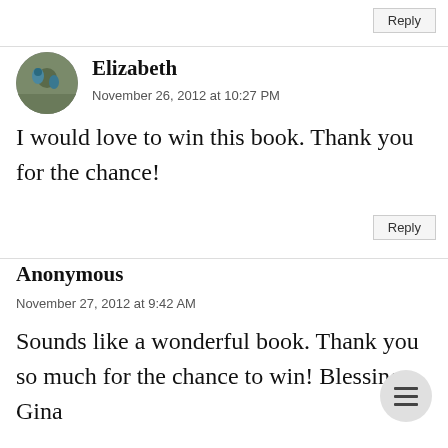Reply
Elizabeth
November 26, 2012 at 10:27 PM
I would love to win this book. Thank you for the chance!
Reply
Anonymous
November 27, 2012 at 9:42 AM
Sounds like a wonderful book. Thank you so much for the chance to win! Blessings, Gina